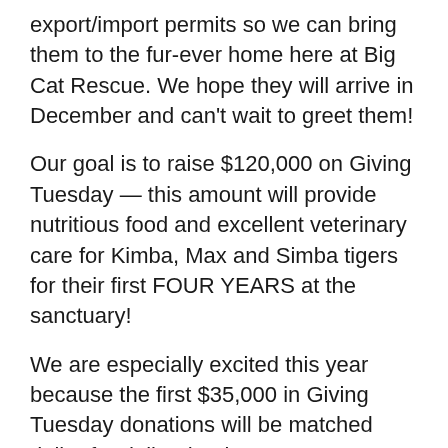export/import permits so we can bring them to the fur-ever home here at Big Cat Rescue. We hope they will arrive in December and can't wait to greet them!
Our goal is to raise $120,000 on Giving Tuesday — this amount will provide nutritious food and excellent veterinary care for Kimba, Max and Simba tigers for their first FOUR YEARS at the sanctuary!
We are especially excited this year because the first $35,000 in Giving Tuesday donations will be matched dollar for dollar thanks to generous donations by the SHARE Foundation, Penny & Don Pray and someone who wishes to remain anonymous.
Can Kimba, Max and Simba tigers count on you on #GivingTuesday? Remember: Early donations started Tuesday, November 13 and qualify for the matching funds